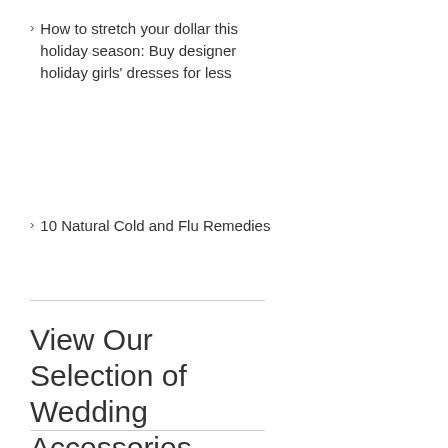How to stretch your dollar this holiday season: Buy designer holiday girls' dresses for less
10 Natural Cold and Flu Remedies
View Our Selection of Wedding Accessories